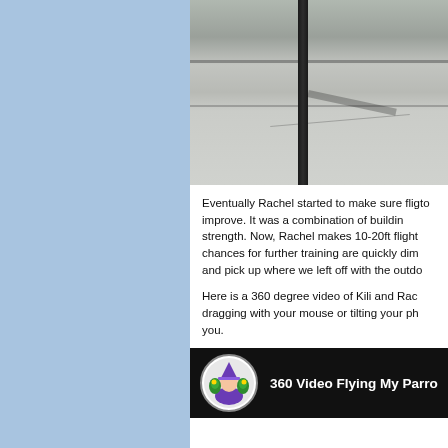[Figure (photo): Outdoor photo showing a black pole/tripod against a concrete wall and floor]
Eventually Rachel started to make sure flig... to improve. It was a combination of building... strength. Now, Rachel makes 10-20ft flight... chances for further training are quickly dim... and pick up where we left off with the outdo...
Here is a 360 degree video of Kili and Rac... dragging with your mouse or tilting your ph... you.
[Figure (screenshot): 360 Video Flying My Parr... - video thumbnail with avatar icon on black background]